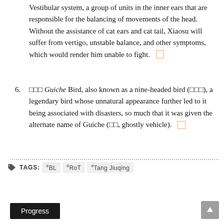Vestibular system, a group of units in the inner ears that are responsible for the balancing of movements of the head. Without the assistance of cat ears and cat tail, Xiaosu will suffer from vertigo, unstable balance, and other symptoms, which would render him unable to fight.
□□□ Guiche Bird, also known as a nine-headed bird (□□□), a legendary bird whose unnatural appearance further led to it being associated with disasters, so much that it was given the alternate name of Guiche (□□, ghostly vehicle).
TAGS: #BL #RoT #Tang Jiuqing
Progress